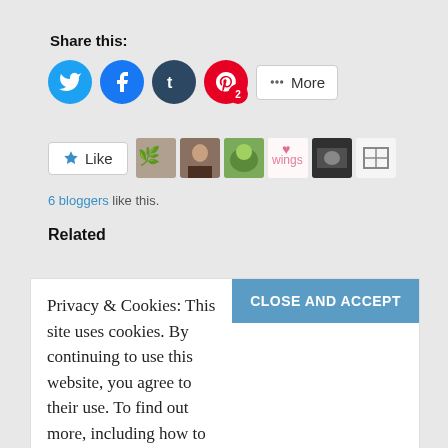Share this:
[Figure (infographic): Social share buttons: Twitter (blue circle), Facebook (blue circle), Tumblr (dark circle), Pinterest (red circle with '2'), and a More button]
[Figure (infographic): Like button with star icon and 6 blogger avatar thumbnails]
6 bloggers like this.
Related
Privacy & Cookies: This site uses cookies. By continuing to use this website, you agree to their use. To find out more, including how to control cookies, see here: Cookie Policy
CLOSE AND ACCEPT